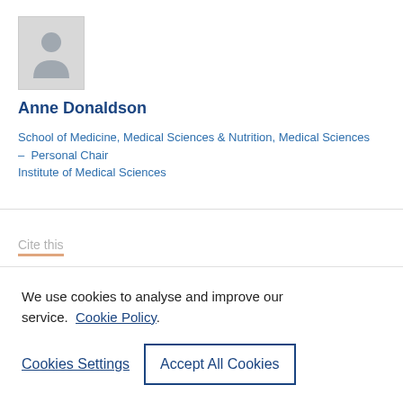[Figure (photo): Gray placeholder profile photo silhouette icon]
Anne Donaldson
School of Medicine, Medical Sciences & Nutrition, Medical Sciences – Personal Chair
Institute of Medical Sciences
Cite this
We use cookies to analyse and improve our service. Cookie Policy
Cookies Settings
Accept All Cookies